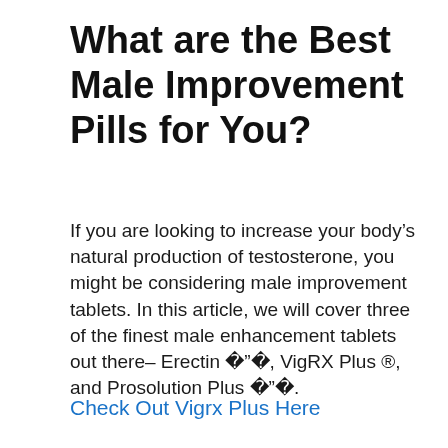What are the Best Male Improvement Pills for You?
If you are looking to increase your body’s natural production of testosterone, you might be considering male improvement tablets. In this article, we will cover three of the finest male enhancement tablets out there– Erectin �”�, VigRX Plus ®, and Prosolution Plus �”�.
Check Out Vigrx Plus Here